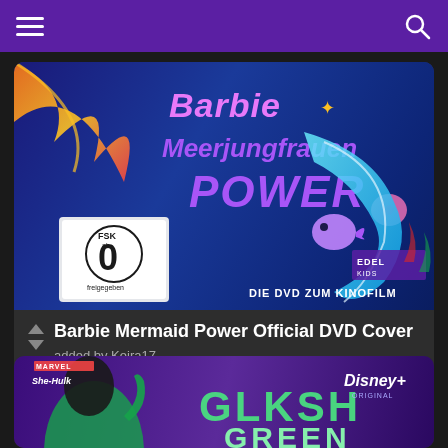Navigation bar with hamburger menu and search icon
[Figure (photo): Barbie Mermaid Power Official DVD Cover showing underwater scene with mermaid characters, FSK 0 rating badge, Edel Kids logo, and text 'DIE DVD ZUM KINOFILM']
Barbie Mermaid Power Official DVD Cover
added by Keira17
[Figure (photo): Partial view of a She-Hulk / Disney+ promotional image showing a green-skinned character and 'GLKSH GREEN' text on purple background]